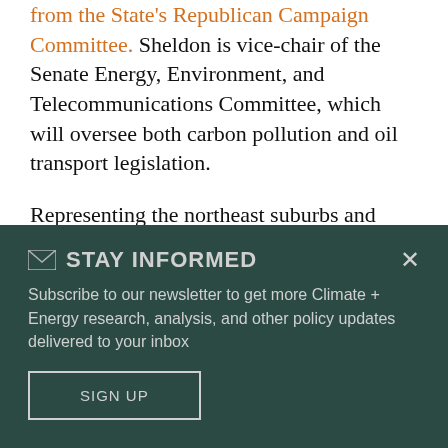from the State's Republican Campaign Committee. Sheldon is vice-chair of the Senate Energy, Environment, and Telecommunications Committee, which will oversee both carbon pollution and oil transport legislation.
Representing the northeast suburbs and exurbs of the Seattle metro area, Republican Senator Andy Hill chairs the
STAY INFORMED
Subscribe to our newsletter to get more Climate + Energy research, analysis, and other policy updates delivered to your inbox
SIGN UP